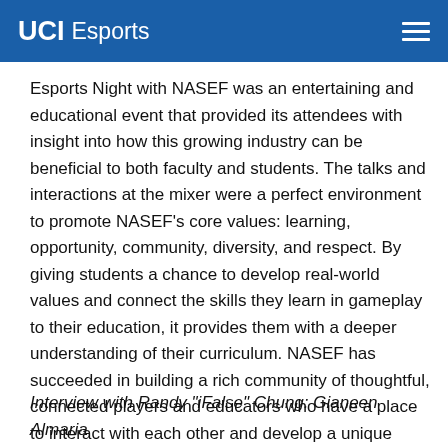UCI Esports
Esports Night with NASEF was an entertaining and educational event that provided its attendees with insight into how this growing industry can be beneficial to both faculty and students. The talks and interactions at the mixer were a perfect environment to promote NASEF’s core values: learning, opportunity, community, diversity, and respect. By giving students a chance to develop real-world values and connect the skills they learn in gameplay to their education, it provides them with a deeper understanding of their curriculum. NASEF has succeeded in building a rich community of thoughtful, connected players and educators who have a place to interact with each other and develop a unique culture within esports.
Interview with Randy “iFalse” Chung: Gianeen Almaria
Photos: Riley Okumura, Jiawei Li